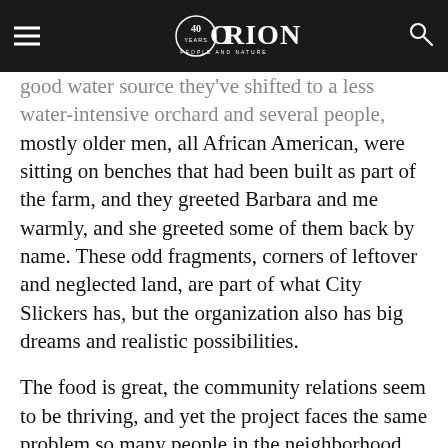ORION — People and Nature (40th anniversary logo)
good water source they've shifted to a less water-intensive orchard and several people, mostly older men, all African American, were sitting on benches that had been built as part of the farm, and they greeted Barbara and me warmly, and she greeted some of them back by name. These odd fragments, corners of leftover and neglected land, are part of what City Slickers has, but the organization also has big dreams and realistic possibilities.
The food is great, the community relations seem to be thriving, and yet the project faces the same problem so many people in the neighborhood do: money. They have to raise it, there's never enough, and there's no self-sufficiency in sight for the staff of seven and the public farms, whose food is sold at farmstands on a sliding scale from free to full price. Since they're farming community and skills and